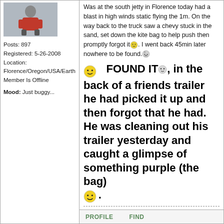[Figure (photo): Avatar photo of a person wearing red shirt, grayscale/outdoor background]
Posts: 897
Registered: 5-26-2008
Location: Florence/Oregon/USA/Earth
Member Is Offline
Mood: Just buggy...
Was at the south jetty in Florence today had a blast in high winds static flying the 1m. On the way back to the truck saw a chevy stuck in the sand, set down the kite bag to help push then promptly forgot it. I went back 45min later nowhere to be found.
FOUND IT, in the back of a friends trailer he had picked it up and then forgot that he had. He was cleaning out his trailer yesterday and caught a glimpse of something purple (the bag)
"Well we are all hurtling around in 3 wheeled, tip over prone, non crash tested vehicles with no brakes that we steer with our feet. Just sayin'....." --heliboy50
PROFILE    FIND